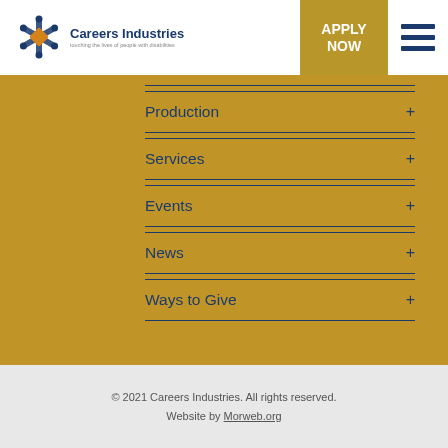[Figure (logo): Careers Industries logo with snowflake/gear icon and tagline 'touching the lives of people with disabilities']
APPLY NOW
[Figure (other): Hamburger menu icon with three dark blue horizontal bars]
Production +
Services +
Events +
News +
Ways to Give +
© 2021 Careers Industries. All rights reserved. Website by Morweb.org